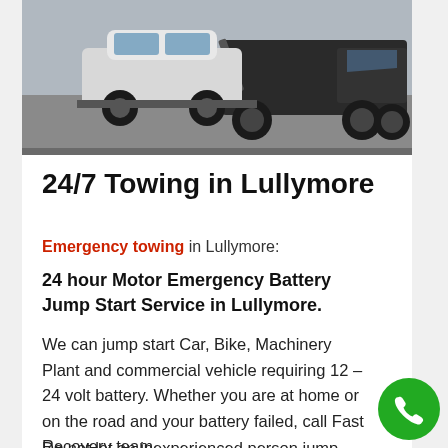[Figure (photo): A tow truck towing a white car on a road]
24/7 Towing in Lullymore
Emergency towing in Lullymore:
24 hour Motor Emergency Battery Jump Start Service in Lullymore.
We can jump start Car, Bike, Machinery Plant and commercial vehicle requiring 12 – 24 volt battery. Whether you are at home or on the road and your battery failed, call Fast Recovery team.
Do not let an inexperienced person jump